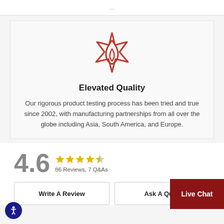[Figure (illustration): Red outline icon of a flame inside a star shape, used as a brand/quality symbol]
Elevated Quality
Our rigorous product testing process has been tried and true since 2002, with manufacturing partnerships from all over the globe including Asia, South America, and Europe.
4.6  ★★★★½  86 Reviews, 7 Q&As
Write A Review
Ask A Ques...
Live Chat